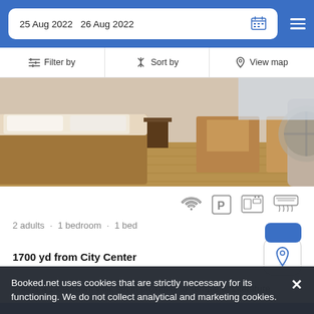25 Aug 2022  26 Aug 2022
Filter by   Sort by   View map
[Figure (photo): Interior of a bedroom with wooden floor, bed, and furniture]
2 adults · 1 bedroom · 1 bed
1700 yd from City Center
This is a 1-bedroom villa, set in proximity to Temple of Literature.
Booked.net uses cookies that are strictly necessary for its functioning. We do not collect analytical and marketing cookies.